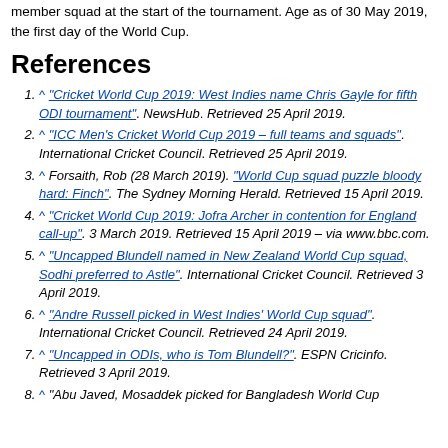member squad at the start of the tournament. Age as of 30 May 2019, the first day of the World Cup.
References
^ "Cricket World Cup 2019: West Indies name Chris Gayle for fifth ODI tournament". NewsHub. Retrieved 25 April 2019.
^ "ICC Men's Cricket World Cup 2019 – full teams and squads". International Cricket Council. Retrieved 25 April 2019.
^ Forsaith, Rob (28 March 2019). "World Cup squad puzzle bloody hard: Finch". The Sydney Morning Herald. Retrieved 15 April 2019.
^ "Cricket World Cup 2019: Jofra Archer in contention for England call-up". 3 March 2019. Retrieved 15 April 2019 – via www.bbc.com.
^ "Uncapped Blundell named in New Zealand World Cup squad, Sodhi preferred to Astle". International Cricket Council. Retrieved 3 April 2019.
^ "Andre Russell picked in West Indies' World Cup squad". International Cricket Council. Retrieved 24 April 2019.
^ "Uncapped in ODIs, who is Tom Blundell?". ESPN Cricinfo. Retrieved 3 April 2019.
^ "Abu Javed, Mosaddek picked for Bangladesh World Cup